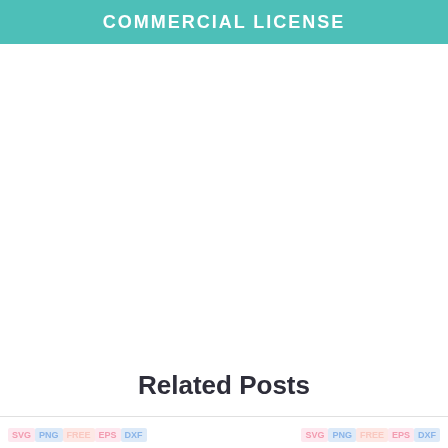COMMERCIAL LICENSE
Related Posts
[Figure (other): Two SVG PNG FREE EPS DXF thumbnail badges at the bottom of the page]